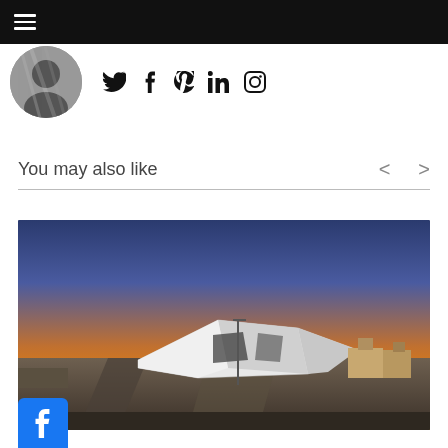Navigation menu bar with hamburger icon
[Figure (photo): Profile avatar photo (black and white portrait) alongside social media icons: Twitter, Facebook, Pinterest, LinkedIn, Instagram]
You may also like
[Figure (photo): Aerial photograph of a modern angular white-roofed building at sunset. The building has a distinctive geometric diamond/folded roof shape. The sky shows a vivid gradient from deep blue to orange/yellow near the horizon where the sun is setting. Surrounding area shows roads, parked cars, and adjacent older brick buildings.]
[Figure (logo): Facebook share icon button at bottom-left corner]